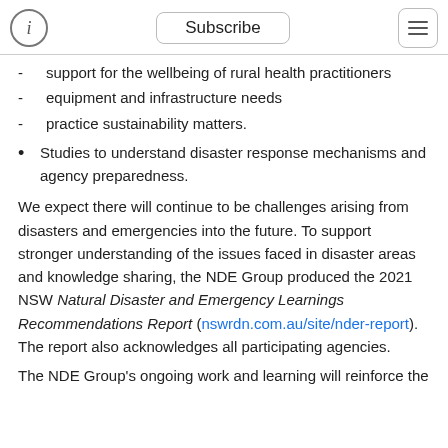Subscribe
support for the wellbeing of rural health practitioners
equipment and infrastructure needs
practice sustainability matters.
Studies to understand disaster response mechanisms and agency preparedness.
We expect there will continue to be challenges arising from disasters and emergencies into the future. To support stronger understanding of the issues faced in disaster areas and knowledge sharing, the NDE Group produced the 2021 NSW Natural Disaster and Emergency Learnings Recommendations Report (nswrdn.com.au/site/nder-report). The report also acknowledges all participating agencies.
The NDE Group's ongoing work and learning will reinforce the